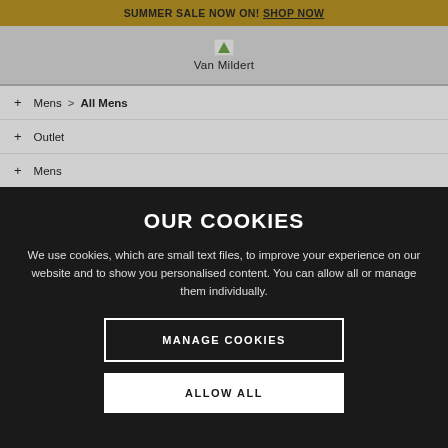SUMMER SALE NOW ON! SHOP NOW
[Figure (logo): Van Mildert logo with small icon and text 'Van Mildert']
+ Mens > All Mens
+ Outlet
+ Mens
+ Mens > Trousers
OUR COOKIES
We use cookies, which are small text files, to improve your experience on our website and to show you personalised content. You can allow all or manage them individually.
MANAGE COOKIES
ALLOW ALL